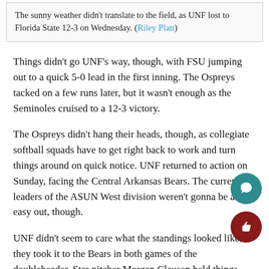The sunny weather didn't translate to the field, as UNF lost to Florida State 12-3 on Wednesday. (Riley Platt)
Things didn't go UNF's way, though, with FSU jumping out to a quick 5-0 lead in the first inning. The Ospreys tacked on a few runs later, but it wasn't enough as the Seminoles cruised to a 12-3 victory.
The Ospreys didn't hang their heads, though, as collegiate softball squads have to get right back to work and turn things around on quick notice. UNF returned to action on Sunday, facing the Central Arkansas Bears. The current leaders of the ASUN West division weren't gonna be an easy out, though.
UNF didn't seem to care what the standings looked like, as they took it to the Bears in both games of the doubleheader. Star pitcher Morgan Clausen held things down in the first game, with a Hayley Bejarano